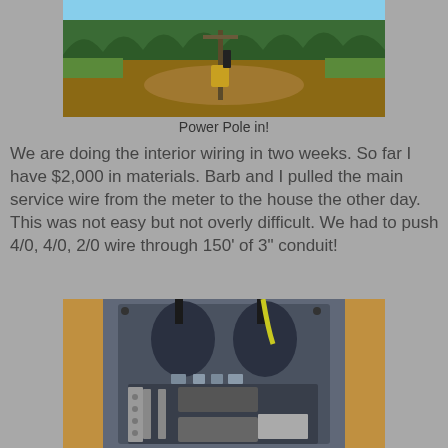[Figure (photo): Outdoor photo showing a cleared dirt area with a power pole installed, surrounded by grass and pine trees in the background under a blue sky.]
Power Pole in!
We are doing the interior wiring in two weeks. So far I have $2,000 in materials. Barb and I pulled the main service wire from the meter to the house the other day. This was not easy but not overly difficult. We had to push 4/0, 4/0, 2/0 wire through 150' of 3" conduit!
[Figure (photo): Photo of an electrical panel/breaker box installed between wooden framing studs, showing the main service wires entering from the top into the panel box.]